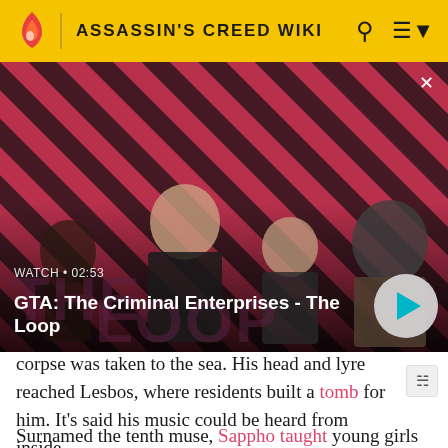ASSASSIN'S CREED WIKI
[Figure (screenshot): Video thumbnail showing GTA: The Criminal Enterprises - The Loop with characters against a red striped background. Watch time 02:53 shown with a play button.]
GTA: The Criminal Enterprises - The Loop
corpse was taken to the sea. His head and lyre reached Lesbos, where residents built a tomb for him. It's said his music could be heard from inside.
Surnamed the tenth muse, Sappho taught young girls the